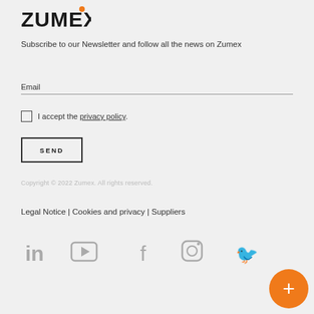[Figure (logo): Zumex logo in bold dark text with orange dot registered trademark symbol]
Subscribe to our Newsletter and follow all the news on Zumex
Email
I accept the privacy policy.
SEND
Copyright © 2022 Zumex. All rights reserved.
Legal Notice | Cookies and privacy | Suppliers
[Figure (infographic): Social media icons: LinkedIn, YouTube, Facebook, Instagram, Twitter in grey]